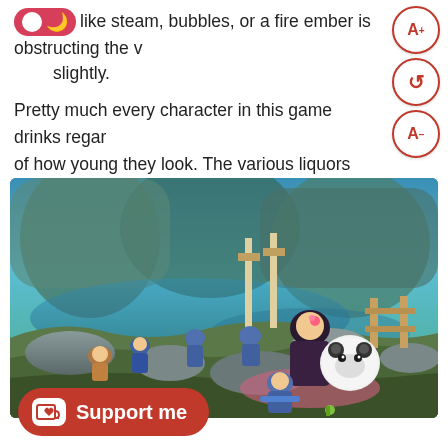like steam, bubbles, or a fire ember is obstructing the view slightly.
Pretty much every character in this game drinks regardless of how young they look. The various liquors are described in detail and if there was a drinking game based off of consumption rate in this title, the participants would surely get wasted along with them.
[Figure (screenshot): A video game screenshot showing anime-style characters in a colorful outdoor environment with water, rocks, and blue/teal landscape. Several characters in blue and brown clothing are visible along with a large panda-like creature.]
[Figure (other): A red Ko-fi support button with heart-and-coffee-cup icon and text 'Support me']